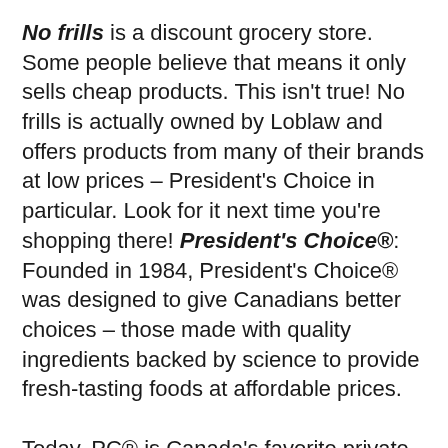No frills is a discount grocery store. Some people believe that means it only sells cheap products. This isn't true! No frills is actually owned by Loblaw and offers products from many of their brands at low prices – President's Choice in particular. Look for it next time you're shopping there! President's Choice®: Founded in 1984, President's Choice® was designed to give Canadians better choices – those made with quality ingredients backed by science to provide fresh-tasting foods at affordable prices.

Today, PC® is Canada's favorite private label brand and one of Canada's top 10 food brands overall with more than 2,500 unique items available across over 1,000 stores